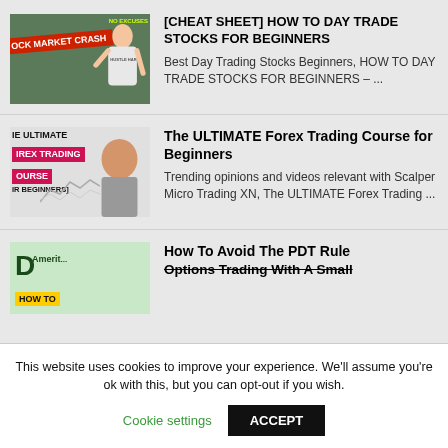[Figure (screenshot): Thumbnail for day trading stocks video showing a man pointing with text 'STOCK MARKET CRASH' and 'NO EXCUSES']
[CHEAT SHEET] HOW TO DAY TRADE STOCKS FOR BEGINNERS
Best Day Trading Stocks Beginners, HOW TO DAY TRADE STOCKS FOR BEGINNERS – ...
[Figure (screenshot): Thumbnail for Ultimate Forex Trading Course showing a man smiling with pink text overlays]
The ULTIMATE Forex Trading Course for Beginners
Trending opinions and videos relevant with Scalper Micro Trading XN, The ULTIMATE Forex Trading ...
[Figure (screenshot): Thumbnail for PDT Rule video showing TD Ameritrade branding and 'HOW TO' text]
How To Avoid The PDT Rule Options Trading With A Small...
This website uses cookies to improve your experience. We'll assume you're ok with this, but you can opt-out if you wish.
Cookie settings
ACCEPT